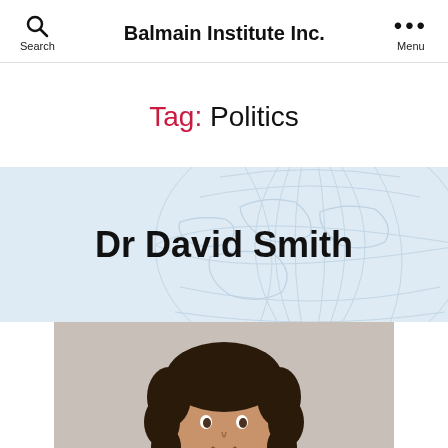Balmain Institute Inc.
Tag: Politics
Dr David Smith
[Figure (photo): Partial photo of a person with curly dark hair, cropped at upper chest, appearing at the bottom of the page]